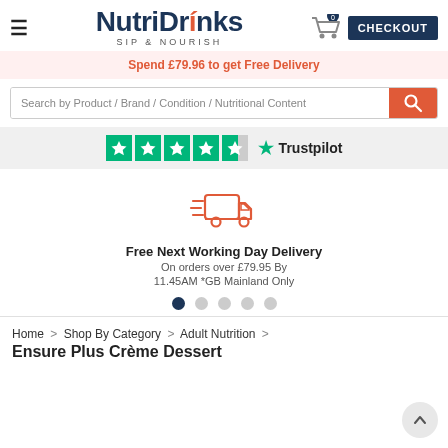[Figure (logo): NutriDrinks logo with tagline SIP & NOURISH]
Spend £79.96 to get Free Delivery
Search by Product / Brand / Condition / Nutritional Content
[Figure (logo): Trustpilot rating showing 4.5 stars]
[Figure (illustration): Delivery truck icon in orange/red outline style]
Free Next Working Day Delivery
On orders over £79.95 By
11.45AM *GB Mainland Only
Home > Shop By Category > Adult Nutrition > Ensure Plus Crème Dessert